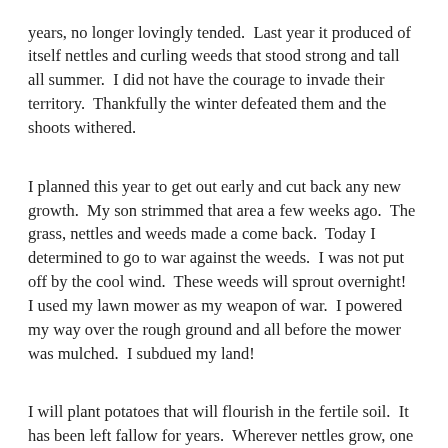years, no longer lovingly tended.  Last year it produced of itself nettles and curling weeds that stood strong and tall all summer.  I did not have the courage to invade their territory.  Thankfully the winter defeated them and the shoots withered.
I planned this year to get out early and cut back any new growth.  My son strimmed that area a few weeks ago.  The grass, nettles and weeds made a come back.  Today I determined to go to war against the weeds.  I was not put off by the cool wind.  These weeds will sprout overnight!  I used my lawn mower as my weapon of war.  I powered my way over the rough ground and all before the mower was mulched.  I subdued my land!
I will plant potatoes that will flourish in the fertile soil.  It has been left fallow for years.  Wherever nettles grow, one can be sure the soil is good.  No back breaking work for me digging up the soil.  No, I will drop each potato in a small overturned sod and let nature take its course.  I have the added benefit of having a ready supply of fertiliser for my garden.  I live beside the sea.  I have gathered seaweed that